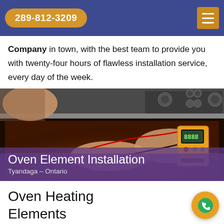289-812-3209
Company in town, with the best team to provide you with twenty-four hours of flawless installation service, every day of the week.
[Figure (photo): A technician using a multimeter/electrical tester to inspect an oven heating element inside an open oven door. The image shows hands holding testing probes against the oven interior with a yellow digital multimeter visible.]
Oven Element Installation
Tyandaga – Ontario
Oven Heating Elements Installation Tyandaga